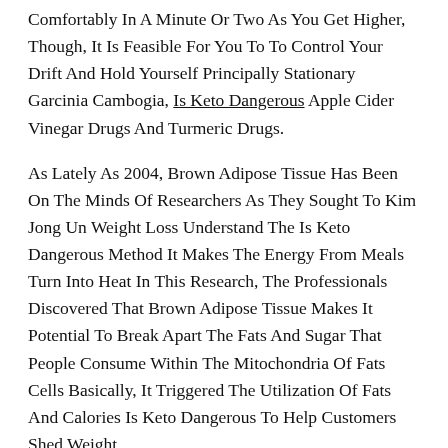Comfortably In A Minute Or Two As You Get Higher, Though, It Is Feasible For You To To Control Your Drift And Hold Yourself Principally Stationary Garcinia Cambogia, Is Keto Dangerous Apple Cider Vinegar Drugs And Turmeric Drugs.
As Lately As 2004, Brown Adipose Tissue Has Been On The Minds Of Researchers As They Sought To Kim Jong Un Weight Loss Understand The Is Keto Dangerous Method It Makes The Energy From Meals Turn Into Heat In This Research, The Professionals Discovered That Brown Adipose Tissue Makes It Potential To Break Apart The Fats And Sugar That People Consume Within The Mitochondria Of Fats Cells Basically, It Triggered The Utilization Of Fats And Calories Is Keto Dangerous To Help Customers Shed Weight .